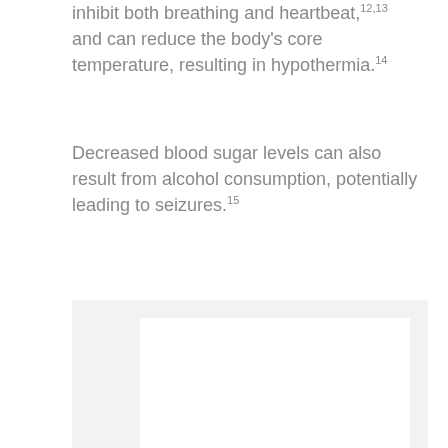inhibit both breathing and heartbeat,12,13 and can reduce the body's core temperature, resulting in hypothermia.14
Decreased blood sugar levels can also result from alcohol consumption, potentially leading to seizures.15
[Figure (other): A framed figure placeholder with a light gray outer box and white inner area, no visible content.]